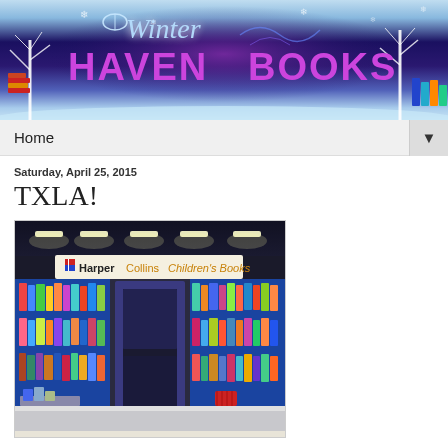[Figure (illustration): Winter Haven Books blog banner with winter night scene, glowing purple/blue background, white bare trees, snowflakes, books stacked on left, colorful books on right, 'Winter' in light blue cursive with open book icon, 'HAVEN BOOKS' in large purple bold text]
Home ▼
Saturday, April 25, 2015
TXLA!
[Figure (photo): Photo of HarperCollins Children's Books booth/display at the TXLA (Texas Library Association) conference. Blue shelving units filled with colorful children's books on multiple levels. A white banner reads 'HarperCollins Children's Books' in the center. A dark doorway/entrance in the middle of the display.]